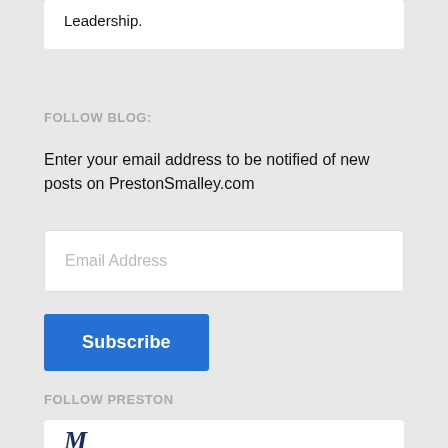Leadership.
FOLLOW BLOG:
Enter your email address to be notified of new posts on PrestonSmalley.com
Email Address
Subscribe
FOLLOW PRESTON
[Figure (logo): Stylized M logo in dark navy blue, serif italic font]